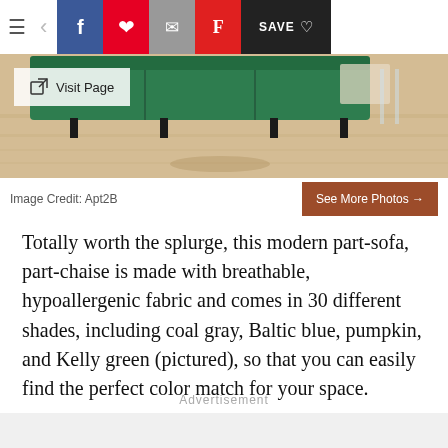≡  <  f  p  ✉  F  SAVE ♡
[Figure (photo): Interior room photo showing a green chaise sofa on light wood flooring with a 'Visit Page' button overlay]
Image Credit: Apt2B
See More Photos →
Totally worth the splurge, this modern part-sofa, part-chaise is made with breathable, hypoallergenic fabric and comes in 30 different shades, including coal gray, Baltic blue, pumpkin, and Kelly green (pictured), so that you can easily find the perfect color match for your space.
Advertisement